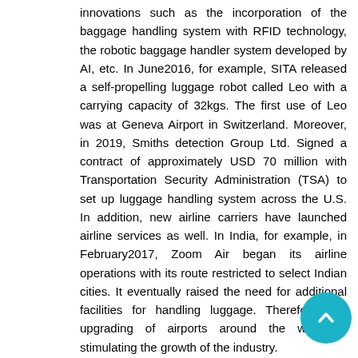innovations such as the incorporation of the baggage handling system with RFID technology, the robotic baggage handler system developed by AI, etc. In June2016, for example, SITA released a self-propelling luggage robot called Leo with a carrying capacity of 32kgs. The first use of Leo was at Geneva Airport in Switzerland. Moreover, in 2019, Smiths detection Group Ltd. Signed a contract of approximately USD 70 million with Transportation Security Administration (TSA) to set up luggage handling system across the U.S. In addition, new airline carriers have launched airline services as well. In India, for example, in February2017, Zoom Air began its airline operations with its route restricted to select Indian cities. It eventually raised the need for additional facilities for handling luggage. Therefore, the upgrading of airports around the world is stimulating the growth of the industry.
Sudden increase in Passengers Travelling via Airlines to swell the market
In 2037, the International Air Transport Association ( stated that airline passenger numbers will be about 8 billion. Due to factors such as sustained economic growth,